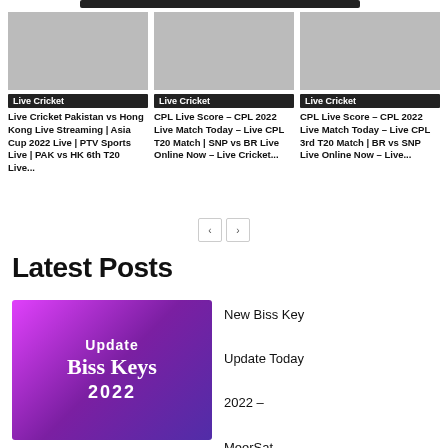[Figure (screenshot): Cropped top navigation bar element]
[Figure (screenshot): Card image placeholder - Live Cricket Pakistan vs Hong Kong]
Live Cricket
Live Cricket Pakistan vs Hong Kong Live Streaming | Asia Cup 2022 Live | PTV Sports Live | PAK vs HK 6th T20 Live...
[Figure (screenshot): Card image placeholder - CPL Live Score SNP vs BR]
Live Cricket
CPL Live Score – CPL 2022 Live Match Today – Live CPL T20 Match | SNP vs BR Live Online Now – Live Cricket...
[Figure (screenshot): Card image placeholder - CPL Live Score BR vs SNP]
Live Cricket
CPL Live Score – CPL 2022 Live Match Today – Live CPL 3rd T20 Match | BR vs SNP Live Online Now – Live...
Latest Posts
[Figure (illustration): Gradient purple-pink thumbnail with text: Update Biss Keys 2022]
New Biss Key Update Today 2022 – MeerSat...